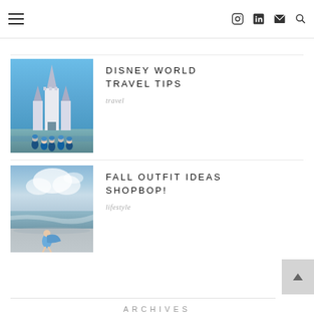Navigation header with hamburger menu and social icons (Instagram, LinkedIn, Email, Search)
[Figure (photo): Partial top image visible at the top of the page, showing a light blue/gray background — cropped photo]
[Figure (photo): Photo of a family posing in front of Cinderella Castle at Disney World, wearing matching blue outfits]
DISNEY WORLD TRAVEL TIPS
travel
[Figure (photo): Photo of a child in a blue outfit walking toward the ocean on a beach with clouds in the sky]
FALL OUTFIT IDEAS SHOPBOP!
lifestyle
ARCHIVES